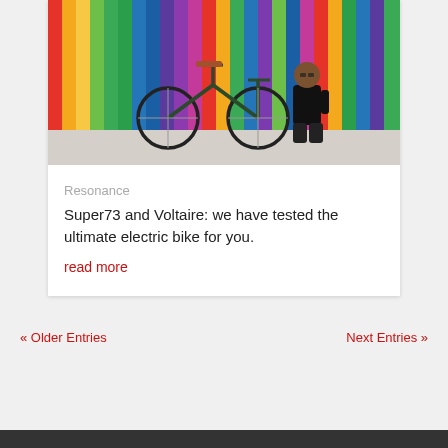[Figure (photo): Photo of a dark green bicycle leaning against a wall covered in multicolored vertical stripes, with a man in black clothes sitting to the right]
Resonance
Super73 and Voltaire: we have tested the ultimate electric bike for you.
read more
« Older Entries    Next Entries »